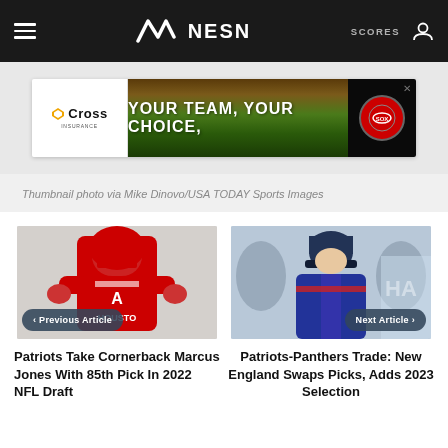NESN — SCORES
[Figure (illustration): Cross Insurance advertisement banner: YOUR TEAM, YOUR CHOICE, with Boston Red Sox logo]
Thumbnail photo via Mike Dinovo/USA TODAY Sports Images
[Figure (photo): Football player in red Houston Cougars uniform]
< Previous Article
Patriots Take Cornerback Marcus Jones With 85th Pick In 2022 NFL Draft
[Figure (photo): NFL coach in blue jacket and cap on sideline]
Next Article >
Patriots-Panthers Trade: New England Swaps Picks, Adds 2023 Selection